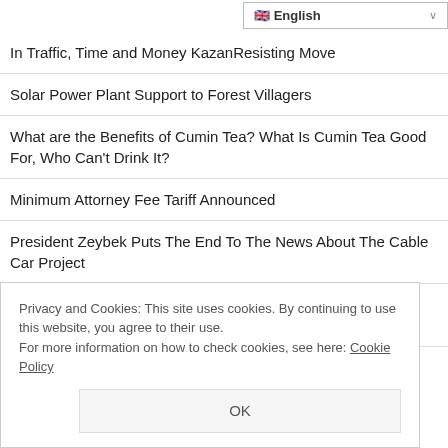English (language selector)
In Traffic, Time and Money KazanResisting Move
Solar Power Plant Support to Forest Villagers
What are the Benefits of Cumin Tea? What Is Cumin Tea Good For, Who Can't Drink It?
Minimum Attorney Fee Tariff Announced
President Zeybek Puts The End To The News About The Cable Car Project
What is Intestinal Alzheimer's? What Kind of Problems Does Lack of Attention Cause?
First Step Taken for Natural Gas Exploration Studies in Ordu
Privacy and Cookies: This site uses cookies. By continuing to use this website, you agree to their use. For more information on how to check cookies, see here: Cookie Policy